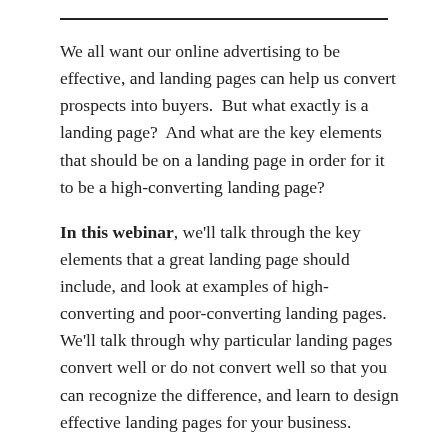We all want our online advertising to be effective, and landing pages can help us convert prospects into buyers. But what exactly is a landing page? And what are the key elements that should be on a landing page in order for it to be a high-converting landing page?
In this webinar, we'll talk through the key elements that a great landing page should include, and look at examples of high-converting and poor-converting landing pages. We'll talk through why particular landing pages convert well or do not convert well so that you can recognize the difference, and learn to design effective landing pages for your business.